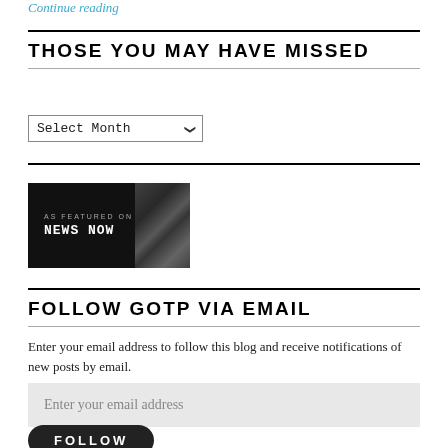Continue reading
THOSE YOU MAY HAVE MISSED
[Figure (screenshot): A dropdown selector showing 'Select Month' with a chevron arrow]
[Figure (logo): As Featured On News Now badge — dark background with white text]
FOLLOW GOTP VIA EMAIL
Enter your email address to follow this blog and receive notifications of new posts by email.
[Figure (screenshot): Email input field placeholder: Enter your email address]
[Figure (screenshot): FOLLOW button with rounded dark rectangle]